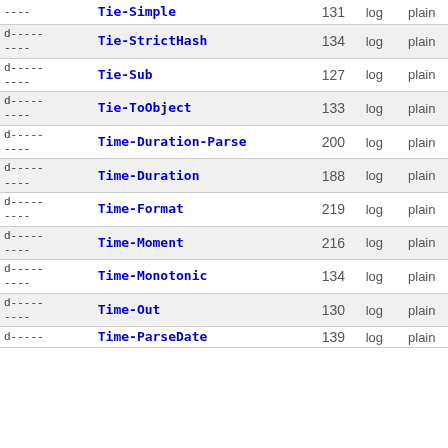| Flags | Name | Num | Log | Plain |
| --- | --- | --- | --- | --- |
| d---------
---- | Tie-Simple | 131 | log | plain |
| d---------
---- | Tie-StrictHash | 134 | log | plain |
| d---------
---- | Tie-Sub | 127 | log | plain |
| d---------
---- | Tie-ToObject | 133 | log | plain |
| d---------
---- | Time-Duration-Parse | 200 | log | plain |
| d---------
---- | Time-Duration | 188 | log | plain |
| d---------
---- | Time-Format | 219 | log | plain |
| d---------
---- | Time-Moment | 216 | log | plain |
| d---------
---- | Time-Monotonic | 134 | log | plain |
| d---------
---- | Time-Out | 130 | log | plain |
| d---------
---- | Time-ParseDate | 139 | log | plain |